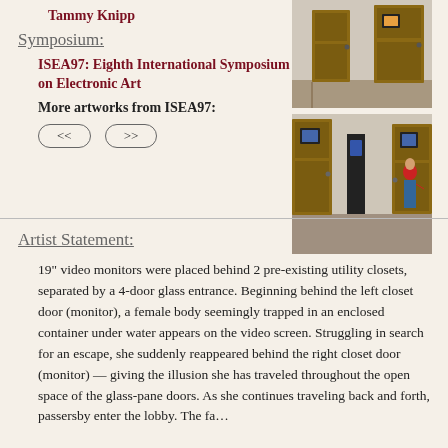Tammy Knipp
Symposium:
ISEA97: Eighth International Symposium on Electronic Art
More artworks from ISEA97:
[Figure (photo): Two photographs of an art installation showing wooden utility closet doors with video monitors mounted behind them in a corridor setting.]
Artist Statement:
19″ video monitors were placed behind 2 pre-existing utility closets, separated by a 4-door glass entrance. Beginning behind the left closet door (monitor), a female body seemingly trapped in an enclosed container under water appears on the video screen. Struggling in search for an escape, she suddenly reappeared behind the right closet door (monitor) — giving the illusion she has traveled throughout the open space of the glass-pane doors. As she continues traveling back and forth, passersby enter the lobby. The fa…